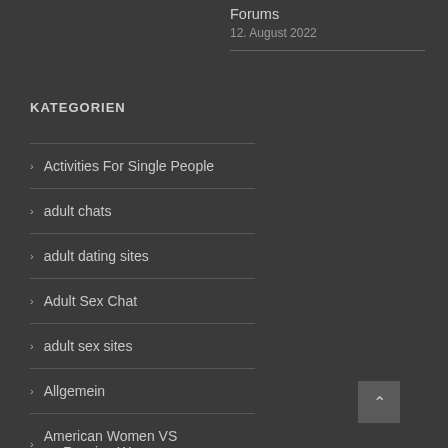Forums
12. August 2022
KATEGORIEN
Activities For Single People
adult chats
adult dating sites
Adult Sex Chat
adult sex sites
Allgemein
American Women VS Russian Women